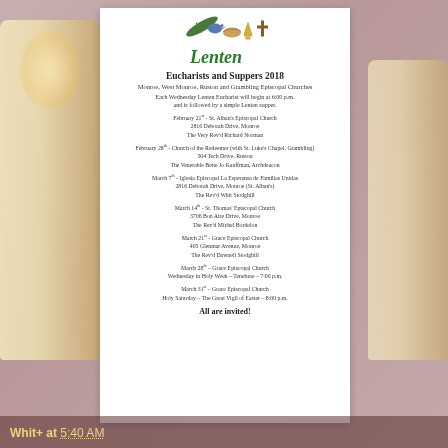[Figure (illustration): Lenten decorative logo with palm frond, bird, bread, chalice, and cross with green cursive 'Lenten' text]
Eucharists and Suppers 2018
Monroe, West Monroe, Ruston and Grambling Episcopal Churches
Each Wednesday Lenten Eucharist will begin at 6:00 p.m. and is followed by a simple Lenten supper.
February 21st - St. Alban's Episcopal Church
2816 Deborah Drive, Monroe
The Very Rev'd Richard Norman
February 28th - Church of the Redeemer (with St. Luke's Chapel, Grambling)
504 Tech Drive, Ruston
The Venerable Bette Jo Kauffman, Archdeacon
March 7th - Iglesia Episcopal La Esperansa de Familias Unidas
2816 Deborah Drive, Monroe (St. Alban's)
The Rev'd Whit Stodghill
March 14th - St. Thomas' Episcopal Church
3706 Bon Aire Drive, Monroe
The Rev'd Michel Bordelon
March 21st - Grace Episcopal Church
405 Glenmar Avenue, Monroe
The Rev'd Dawnell Stodghill
March 28th – Grace Episcopal Church
Wednesday in Holy Week – Tenebrae – 7:00 p.m.
March 31st – Grace Episcopal Church
Holy Saturday – The Great Vigil of Easter – 8:00 p.m.
All are invited!
Whit+ at 5:40 AM